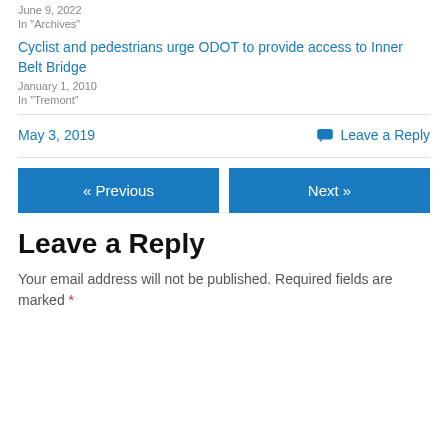June 9, 2022
In "Archives"
Cyclist and pedestrians urge ODOT to provide access to Inner Belt Bridge
January 1, 2010
In "Tremont"
May 3, 2019
Leave a Reply
« Previous
Next »
Leave a Reply
Your email address will not be published. Required fields are marked *